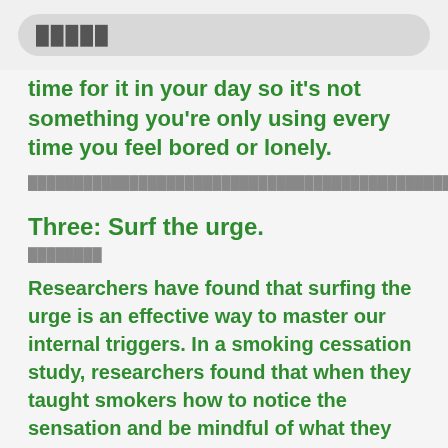█████
time for it in your day so it's not something you're only using every time you feel bored or lonely.
████████████████████████████████████████████████████████████████████████████████████ ████████
Three: Surf the urge.
████████
Researchers have found that surfing the urge is an effective way to master our internal triggers. In a smoking cessation study, researchers found that when they taught smokers how to notice the sensation and be mindful of what they were